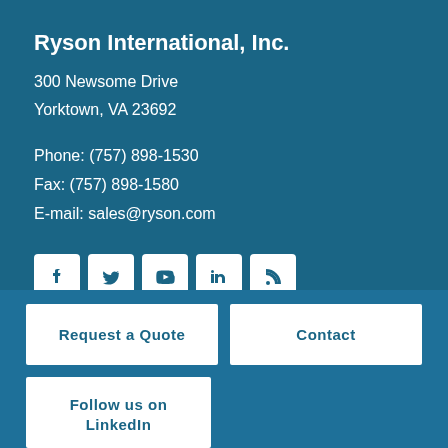Ryson International, Inc.
300 Newsome Drive
Yorktown, VA 23692
Phone: (757) 898-1530
Fax: (757) 898-1580
E-mail: sales@ryson.com
[Figure (logo): Row of 5 social media icons: Facebook, Twitter, YouTube, LinkedIn, RSS feed]
Request a Quote
Contact
Follow us on
LinkedIn